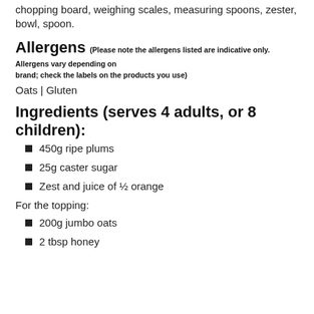chopping board, weighing scales, measuring spoons, zester, bowl, spoon.
Allergens (Please note the allergens listed are indicative only. Allergens vary depending on brand; check the labels on the products you use)
Oats | Gluten
Ingredients (serves 4 adults, or 8 children):
450g ripe plums
25g caster sugar
Zest and juice of ½ orange
For the topping:
200g jumbo oats
2 tbsp honey